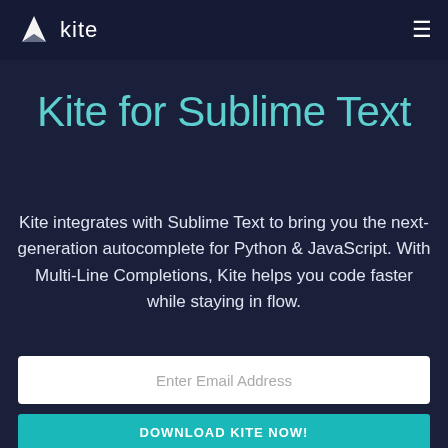kite
Kite for Sublime Text
Kite integrates with Sublime Text to bring you the next-generation autocomplete for Python & JavaScript. With Multi-Line Completions, Kite helps you code faster while staying in flow.
Enter Email Address
DOWNLOAD KITE NOW!